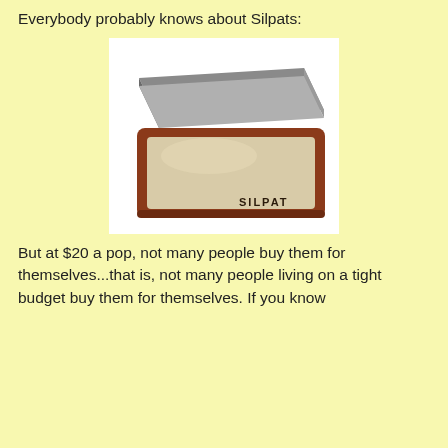Everybody probably knows about Silpats:
[Figure (photo): A Silpat silicone baking mat with a brown/rust-colored border and beige interior, labeled 'SILPAT' in the lower right corner, resting in front of a gray metal baking sheet pan. White background.]
But at $20 a pop, not many people buy them for themselves...that is, not many people living on a tight budget buy them for themselves. If you know